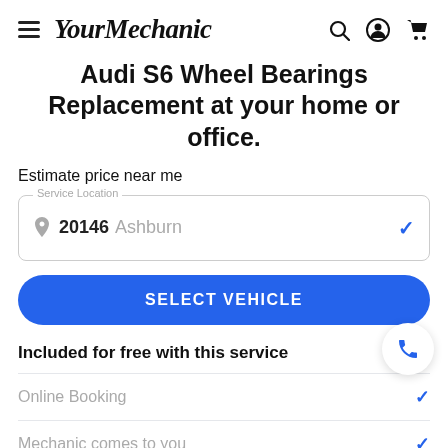YourMechanic navigation bar with hamburger menu, logo, search, account, and cart icons
Audi S6 Wheel Bearings Replacement at your home or office.
Estimate price near me
Service Location: 20146 Ashburn
SELECT VEHICLE
Included for free with this service
Online Booking
Mechanic comes to you